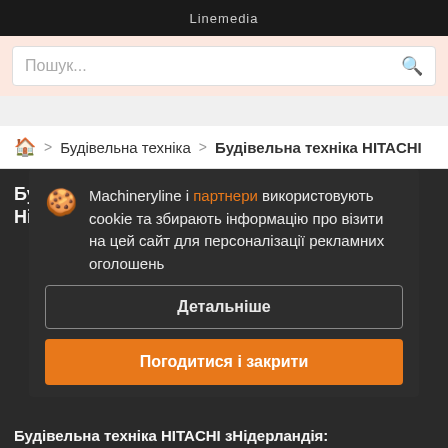Linemedia
Пошук...
Будівельна техніка > Будівельна техніка HITACHI
Будівельна техніка HITACHI з Нідерланд...
Machineryline і партнери використовують cookie та збирають інформацію про візити на цей сайт для персоналізації рекламних оголошень
Детальніше
Погодитися і закрити
Будівельна техніка HITACHI зНідерландія: